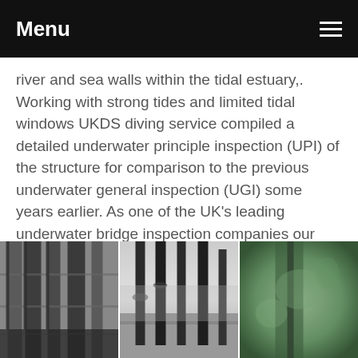Menu
river and sea walls within the tidal estuary,. Working with strong tides and limited tidal windows UKDS diving service compiled a detailed underwater principle inspection (UPI) of the structure for comparison to the previous underwater general inspection (UGI) some years earlier. As one of the UK's leading underwater bridge inspection companies our surveyors provide detailed underwater inspection of bridges, culverts, dams, piers, docks, moorings and any other submerged structural asset.
[Figure (photo): Three side-by-side photographs showing underwater and waterside structural inspection scenes: left image shows stone/concrete wall with vertical elements, centre image shows wooden piles/posts in an estuary with water and background, right image shows a green-tinted underwater view of a structural element.]